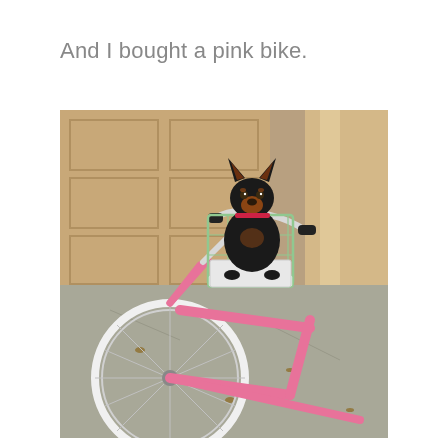And I bought a pink bike.
[Figure (photo): A small black and tan Miniature Pinscher dog sitting in a wire basket attached to the front handlebars of a pink bicycle, parked in a driveway in front of a beige garage door.]